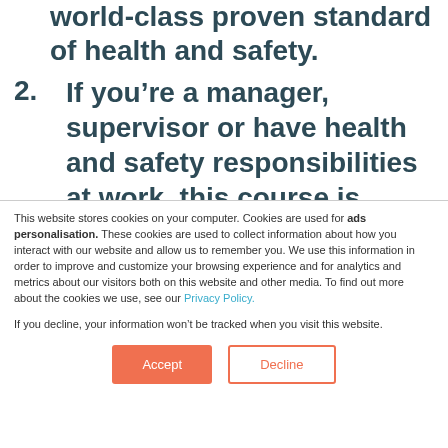world‑class proven standard of health and safety.
2. If you're a manager, supervisor or have health and safety responsibilities at work, this course is designed for your level of experience
This website stores cookies on your computer. Cookies are used for ads personalisation. These cookies are used to collect information about how you interact with our website and allow us to remember you. We use this information in order to improve and customize your browsing experience and for analytics and metrics about our visitors both on this website and other media. To find out more about the cookies we use, see our Privacy Policy.
If you decline, your information won't be tracked when you visit this website.